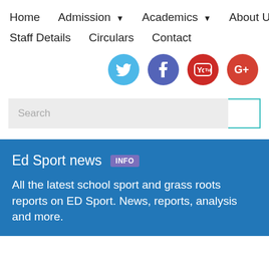Home   Admission ▾   Academics ▾   About Us ▾   Staff Details   Circulars   Contact
[Figure (infographic): Social media icons: Twitter (blue circle), Facebook (purple circle), YouTube (red circle), Google+ (red circle)]
Search
Ed Sport news INFO
All the latest school sport and grass roots reports on ED Sport. News, reports, analysis and more.